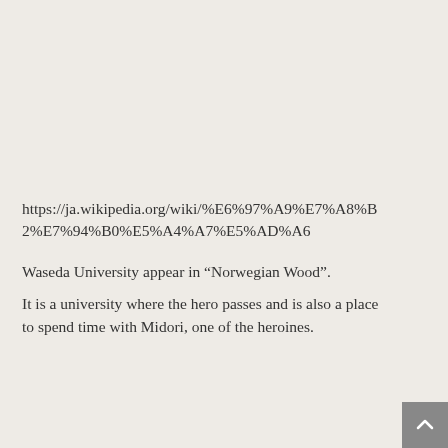https://ja.wikipedia.org/wiki/%E6%97%A9%E7%A8%B2%E7%94%B0%E5%A4%A7%E5%AD%A6
Waseda University appear in “Norwegian Wood”.
It is a university where the hero passes and is also a place to spend time with Midori, one of the heroines.